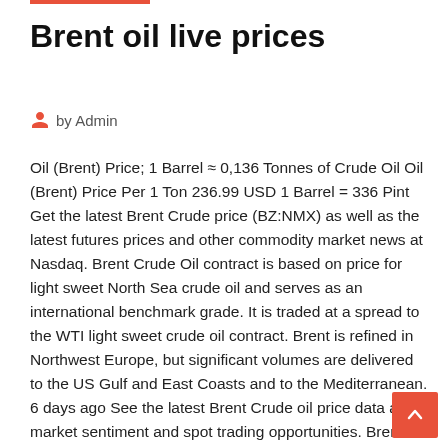Brent oil live prices
by Admin
Oil (Brent) Price; 1 Barrel ≈ 0,136 Tonnes of Crude Oil Oil (Brent) Price Per 1 Ton 236.99 USD 1 Barrel = 336 Pint Get the latest Brent Crude price (BZ:NMX) as well as the latest futures prices and other commodity market news at Nasdaq. Brent Crude Oil contract is based on price for light sweet North Sea crude oil and serves as an international benchmark grade. It is traded at a spread to the WTI light sweet crude oil contract. Brent is refined in Northwest Europe, but significant volumes are delivered to the US Gulf and East Coasts and to the Mediterranean.
6 days ago See the latest Brent Crude oil price data and market sentiment and spot trading opportunities. Brent Crude is Or trade now with a live account  Brent oil prices crashed nearly 10 per cent during the day, while precious metals pack also nosedived. Hot/Cold Crude Oil Contract. CRUDE OIL Spot Rate